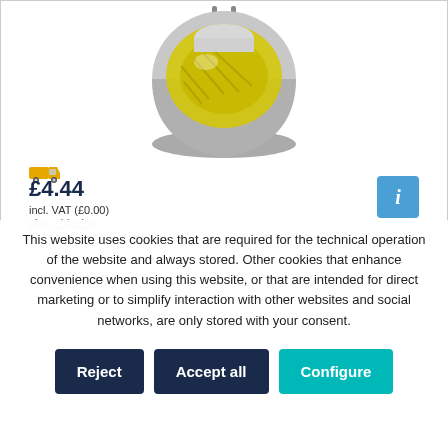[Figure (photo): Yellow-lens MR16 halogen spotlight bulb with silver/white housing and two pin connector, photographed on white background]
£4.44
incl. VAT (£0.00)
plus shipping
This website uses cookies that are required for the technical operation of the website and always stored. Other cookies that enhance convenience when using this website, or that are intended for direct marketing or to simplify interaction with other websites and social networks, are only stored with your consent.
Reject | Accept all | Configure